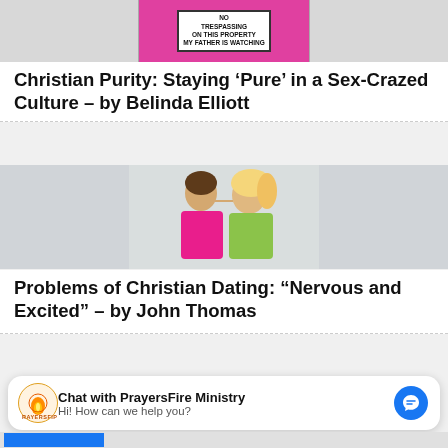[Figure (photo): Person wearing a pink/magenta shirt with text 'NO TRESPASSING ON THIS PROPERTY MY FATHER IS WATCHING']
Christian Purity: Staying ‘Pure’ in a Sex-Crazed Culture – by Belinda Elliott
[Figure (photo): Young man in pink shirt and blonde woman facing each other closely, appearing to be about to kiss, white wall background]
Problems of Christian Dating: “Nervous and Excited” – by John Thomas
Chat with PrayersFire Ministry
Hi! How can we help you?